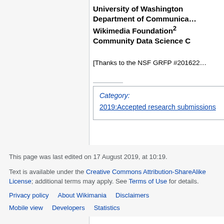University of Washington Department of Communication
Wikimedia Foundation²
Community Data Science
[Thanks to the NSF GRFP #201622
Category:
2019:Accepted research submissions
This page was last edited on 17 August 2019, at 10:19.
Text is available under the Creative Commons Attribution-ShareAlike License; additional terms may apply. See Terms of Use for details.
Privacy policy   About Wikimania   Disclaimers
Mobile view   Developers   Statistics